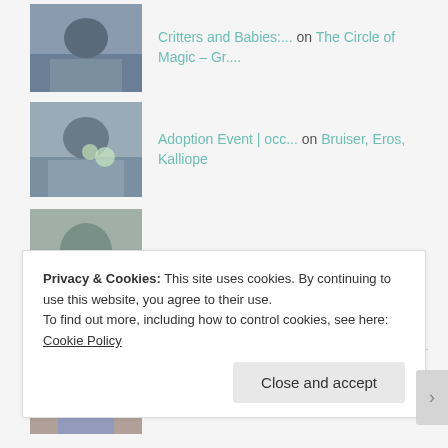Critters and Babies:... on The Circle of Magic – Gr....
Adoption Event | occ... on Bruiser, Eros, Kalliope
atkinsri on Apologies
mtntrillium on Advocacy Kit
ARCHIVES
Privacy & Cookies: This site uses cookies. By continuing to use this website, you agree to their use.
To find out more, including how to control cookies, see here: Cookie Policy
Close and accept